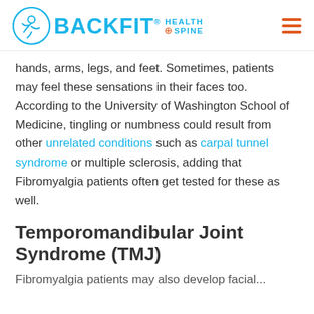BACKFIT HEALTH SPINE
hands, arms, legs, and feet. Sometimes, patients may feel these sensations in their faces too. According to the University of Washington School of Medicine, tingling or numbness could result from other unrelated conditions such as carpal tunnel syndrome or multiple sclerosis, adding that Fibromyalgia patients often get tested for these as well.
Temporomandibular Joint Syndrome (TMJ)
Fibromyalgia patients may also develop facial...